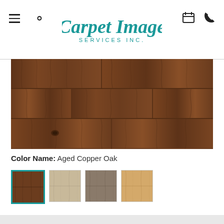Carpet Image Services Inc. - navigation header with menu, search, logo, calendar, phone icons
[Figure (photo): Close-up photo of Aged Copper Oak wood flooring texture — dark warm brown with visible wood grain, knots, and varied plank patterns]
Color Name: Aged Copper Oak
[Figure (photo): Four wood flooring color swatches: 1) Aged Copper Oak (dark brown, active/selected), 2) Light grey-beige oak, 3) Medium grey-brown oak, 4) Light golden oak]